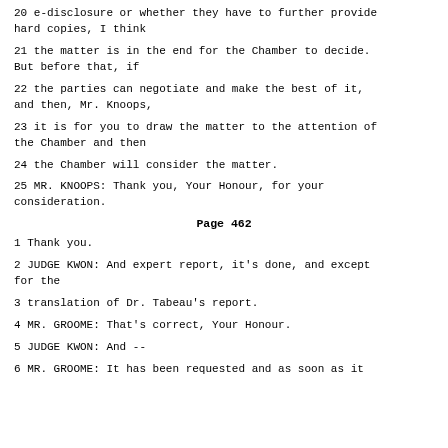20 e-disclosure or whether they have to further provide hard copies, I think
21 the matter is in the end for the Chamber to decide. But before that, if
22 the parties can negotiate and make the best of it, and then, Mr. Knoops,
23 it is for you to draw the matter to the attention of the Chamber and then
24 the Chamber will consider the matter.
25 MR. KNOOPS: Thank you, Your Honour, for your consideration.
Page 462
1 Thank you.
2 JUDGE KWON: And expert report, it's done, and except for the
3 translation of Dr. Tabeau's report.
4 MR. GROOME: That's correct, Your Honour.
5 JUDGE KWON: And --
6 MR. GROOME: It has been requested and as soon as it